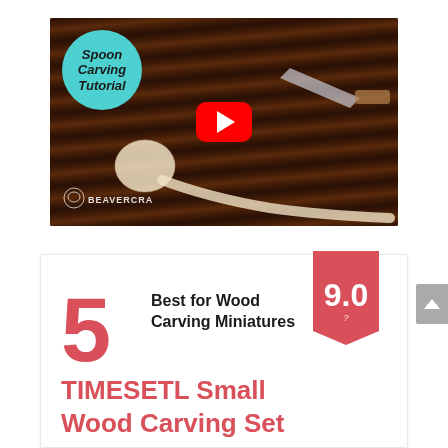[Figure (screenshot): YouTube video thumbnail for 'Spoon Carving Tutorial' by BeaverCraft. Shows a carved wooden spoon on a dark wood background with carving knives. Features a teal circle with bold italic text 'Spoon Carving Tutorial', a red YouTube play button in the center, and the BeaverCraft logo in the bottom left.]
[Figure (infographic): Product ranking card showing rank #5 with a 9.0 score badge (red bookmark shape). Text reads 'Best for Wood Carving Miniatures' and product name 'TIMESETL Small Wood Carving Set' in red.]